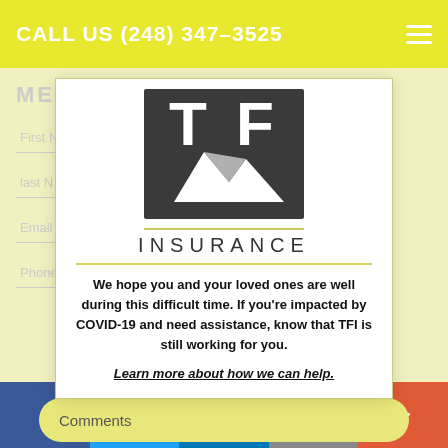CALL US (248) 347-3525
[Figure (logo): TFI Insurance logo with mountain graphic and the word INSURANCE below]
We hope you and your loved ones are well during this difficult time. If you're impacted by COVID-19 and need assistance, know that TFI is still working for you.
Learn more about how we can help.
Comments
SUBMIT
RESOURCES